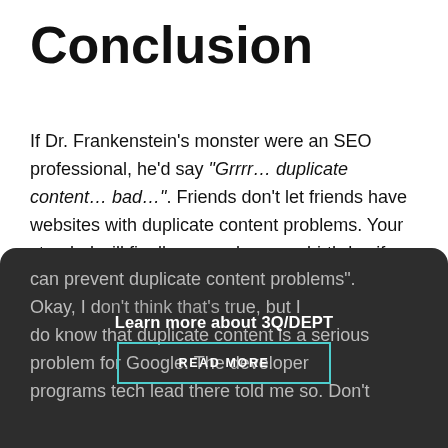Conclusion
If Dr. Frankenstein's monster were an SEO professional, he'd say “Grrrr… duplicate content… bad…”. Friends don’t let friends have websites with duplicate content problems. Your stepdad will finally remember your birthday if you fix your duplicate content problems. Smokey the Bear says “only you can prevent duplicate content problems”. Okay, I don’t think that’s true, but I do know that duplicate content is a serious problem for Google. The developer programs tech lead there told me so. Don’t
Learn more about 3Q/DEPT
READ MORE